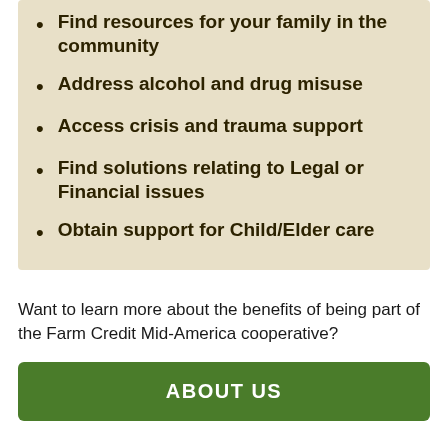Find resources for your family in the community
Address alcohol and drug misuse
Access crisis and trauma support
Find solutions relating to Legal or Financial issues
Obtain support for Child/Elder care
Want to learn more about the benefits of being part of the Farm Credit Mid-America cooperative?
ABOUT US